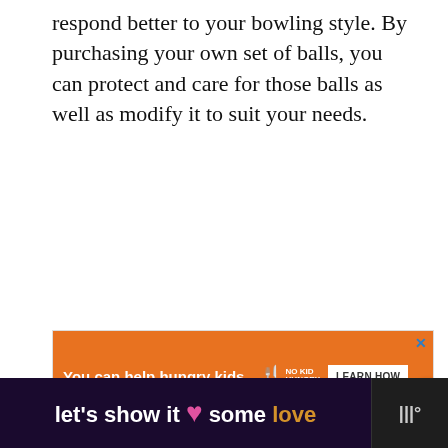respond better to your bowling style. By purchasing your own set of balls, you can protect and care for those balls as well as modify it to suit your needs.
[Figure (screenshot): Orange advertisement banner for No Kid Hungry charity with text 'You can help hungry kids.' and a 'LEARN HOW' button]
[Figure (screenshot): Dark purple bottom banner advertisement with text 'let's show it some love' and a pink heart icon, with a logo on the right side]